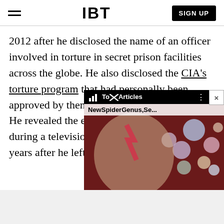IBT | SIGN UP
2012 after he disclosed the name of an officer involved in torture in secret prison facilities across the globe. He also disclosed the CIA's torture program that had personally been approved by then-President George W. Bush. He revealed the existence of the program during a television interview in 2007, three years after he left the intelligence agency.
[Figure (screenshot): A video overlay widget showing 'Top Articles' label with 'NewSpiderGenus,Se...' subtitle, a close button (×), and a thumbnail image of a face with colorful spheres in the background.]